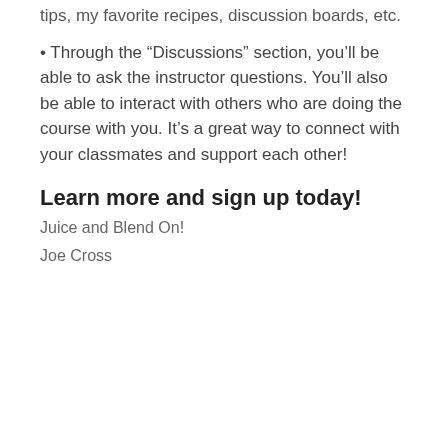tips, my favorite recipes, discussion boards, etc.
Through the “Discussions” section, you’ll be able to ask the instructor questions. You’ll also be able to interact with others who are doing the course with you. It’s a great way to connect with your classmates and support each other!
Learn more and sign up today!
Juice and Blend On!
Joe Cross